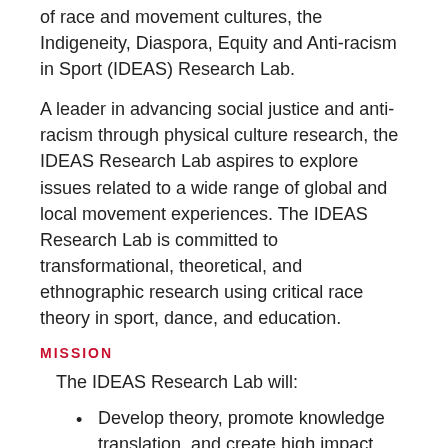of race and movement cultures, the Indigeneity, Diaspora, Equity and Anti-racism in Sport (IDEAS) Research Lab.
A leader in advancing social justice and anti-racism through physical culture research, the IDEAS Research Lab aspires to explore issues related to a wide range of global and local movement experiences. The IDEAS Research Lab is committed to transformational, theoretical, and ethnographic research using critical race theory in sport, dance, and education.
MISSION
The IDEAS Research Lab will:
Develop theory, promote knowledge translation, and create high impact programming relevant to anti-racism in sport, dance, physical activity, education and leadership.